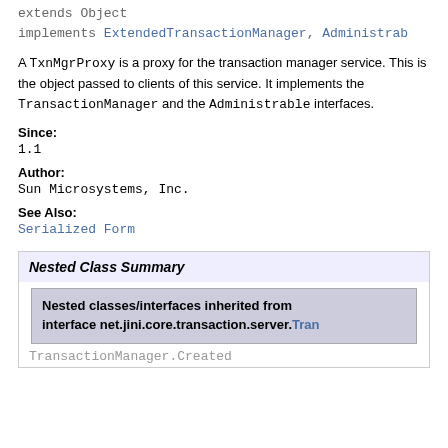extends Object
implements ExtendedTransactionManager, Administrable
A TxnMgrProxy is a proxy for the transaction manager service. This is the object passed to clients of this service. It implements the TransactionManager and the Administrable interfaces.
Since:
1.1
Author:
Sun Microsystems, Inc.
See Also:
Serialized Form
Nested Class Summary
Nested classes/interfaces inherited from interface net.jini.core.transaction.server.Tran
TransactionManager.Created